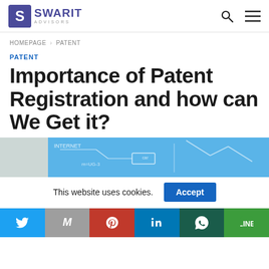SWARIT ADVISORS
HOMEPAGE > PATENT
PATENT
Importance of Patent Registration and how can We Get it?
[Figure (illustration): Blue background illustration showing patent/innovation sketches and diagrams]
This website uses cookies. Accept
Social share buttons: Twitter, Gmail, Pinterest, LinkedIn, WhatsApp, Line